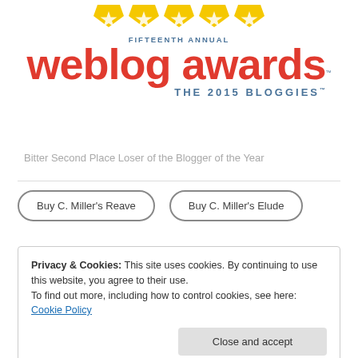[Figure (logo): Fifteenth Annual Weblog Awards - The 2015 Bloggies logo with five yellow star ribbons above red and teal text]
Bitter Second Place Loser of the Blogger of the Year
Buy C. Miller's Reave
Buy C. Miller's Elude
Privacy & Cookies: This site uses cookies. By continuing to use this website, you agree to their use.
To find out more, including how to control cookies, see here: Cookie Policy
Close and accept